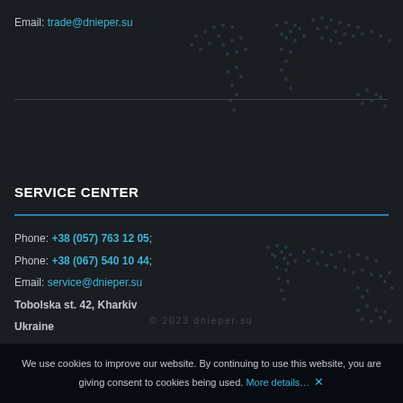Email: trade@dnieper.su
SERVICE CENTER
Phone: +38 (057) 763 12 05;
Phone: +38 (067) 540 10 44;
Email: service@dnieper.su
Tobolska st. 42, Kharkiv
Ukraine
We use cookies to improve our website. By continuing to use this website, you are giving consent to cookies being used. More details… ✕